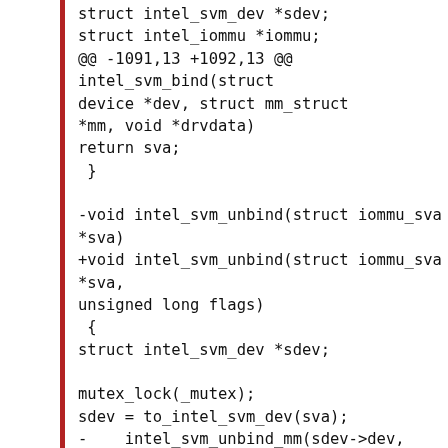[Figure (screenshot): Code diff snippet showing changes to intel_svm_unbind function signature and intel_svm_unbind_mm call, with a red vertical bar on the left margin]